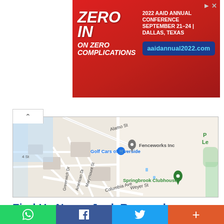[Figure (infographic): Red advertisement banner for 2022 AAID Annual Conference. Text reads 'ZERO IN ON ZERO COMPLICATIONS' on the left, '2022 AAID ANNUAL CONFERENCE SEPTEMBER 21-24 | DALLAS, TEXAS' on the right, with a blue button showing 'aaidannual2022.com'. Small close/arrow icons in top right.]
[Figure (map): Google Maps screenshot showing a street map of Riverside area with labels: Alamo St, Golf Cars of Riverside (with blue shopping bag pin), Fenceworks Inc (with grey pin), Marymount St, Columbia Ave, Greenwich Dr, Weyer St, Springbrook Clubhouse (with green pin), and partial labels 'P Le' in upper right.]
Find Us Now – Junk Removal Riverside
Riverside, CA 92501, United States
[Figure (infographic): Bottom social sharing bar with four buttons: green WhatsApp icon, dark blue Facebook icon, light blue Twitter icon, and orange-red plus/more button.]